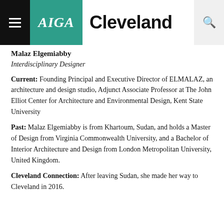AIGA Cleveland
Malaz Elgemiabby
Interdisciplinary Designer
Current: Founding Principal and Executive Director of ELMALAZ, an architecture and design studio, Adjunct Associate Professor at The John Elliot Center for Architecture and Environmental Design, Kent State University
Past: Malaz Elgemiabby is from Khartoum, Sudan, and holds a Master of Design from Virginia Commonwealth University, and a Bachelor of Interior Architecture and Design from London Metropolitan University, United Kingdom.
Cleveland Connection: After leaving Sudan, she made her way to Cleveland in 2016.